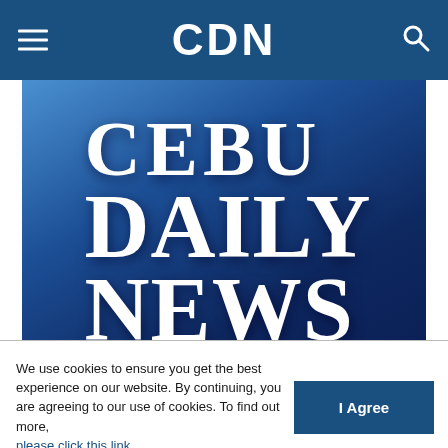CDN
[Figure (logo): Cebu Daily News logo on blue gradient background with large white serif text reading CEBU DAILY NEWS]
Misrule by law
We use cookies to ensure you get the best experience on our website. By continuing, you are agreeing to our use of cookies. To find out more, please click this link.